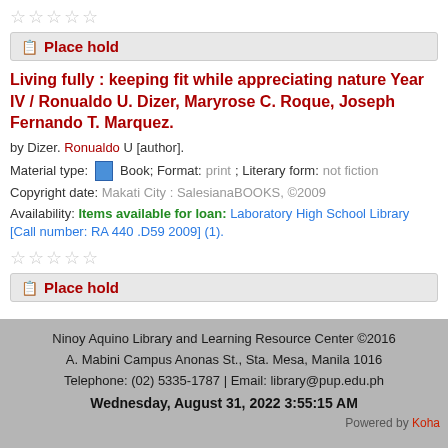★★★★★
Place hold
Living fully : keeping fit while appreciating nature Year IV / Ronualdo U. Dizer, Maryrose C. Roque, Joseph Fernando T. Marquez.
by Dizer. Ronualdo U [author].
Material type: Book; Format: print ; Literary form: not fiction
Copyright date: Makati City : SalesianaBOOKS, ©2009
Availability: Items available for loan: Laboratory High School Library [Call number: RA 440 .D59 2009] (1).
★★★★★
Place hold
Ninoy Aquino Library and Learning Resource Center ©2016
A. Mabini Campus Anonas St., Sta. Mesa, Manila 1016
Telephone: (02) 5335-1787 | Email: library@pup.edu.ph
Wednesday, August 31, 2022 3:55:15 AM
Powered by Koha